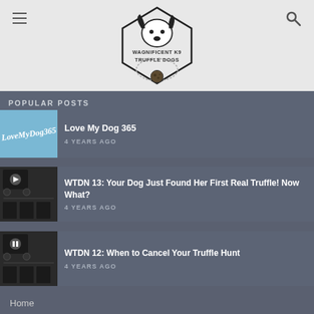Wagnificent K9 Truffle Dogs
POPULAR POSTS
LoveMyDog365 — 4 YEARS AGO
WTDN 13: Your Dog Just Found Her First Real Truffle! Now What? — 4 YEARS AGO
WTDN 12: When to Cancel Your Truffle Hunt — 4 YEARS AGO
Home